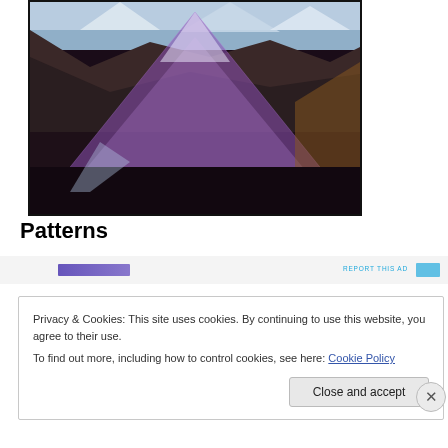[Figure (photo): Mountain landscape photo with purple/violet triangle geometric overlay on rugged mountains with snow-capped peaks]
Patterns
[Figure (other): Ad banner strip with purple bar on left and REPORT THIS AD text on right in cyan]
Privacy & Cookies: This site uses cookies. By continuing to use this website, you agree to their use.
To find out more, including how to control cookies, see here: Cookie Policy
Close and accept